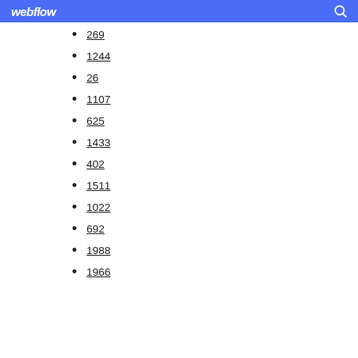webflow
269
1244
26
1107
625
1433
402
1511
1022
692
1988
1966